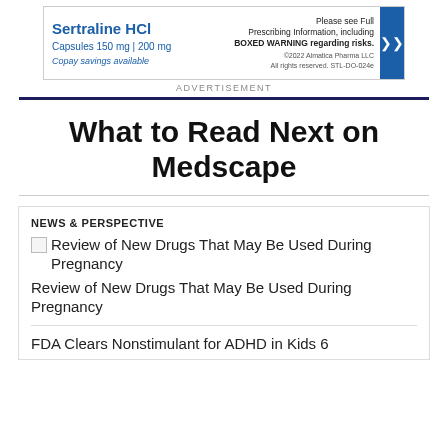[Figure (other): Advertisement banner for Sertraline HCl Capsules 150 mg / 200 mg with copay savings. Includes text: Please see Full Prescribing Information, including BOXED WARNING regarding risks. ©2022 Almatica Pharma LLC. All rights reserved. STL-DO-024e]
ADVERTISEMENT
What to Read Next on Medscape
NEWS & PERSPECTIVE
[Figure (illustration): Broken image placeholder for 'Review of New Drugs That May Be Used During Pregnancy']
Review of New Drugs That May Be Used During Pregnancy
Review of New Drugs That May Be Used During Pregnancy
FDA Clears Nonstimulant for ADHD in Kids 6